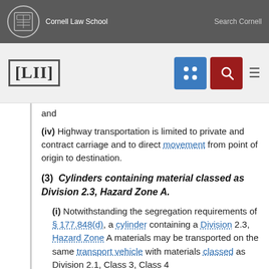Cornell Law School   Search Cornell
[Figure (logo): LII Legal Information Institute logo with Cornell navigation icons]
and
(iv) Highway transportation is limited to private and contract carriage and to direct movement from point of origin to destination.
(3)  Cylinders containing material classed as Division 2.3, Hazard Zone A.
(i) Notwithstanding the segregation requirements of § 177.848(d), a cylinder containing a Division 2.3, Hazard Zone A materials may be transported on the same transport vehicle with materials classed as Division 2.1, Class 3, Class 4